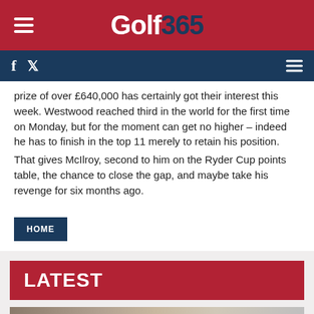Golf 365
prize of over £640,000 has certainly got their interest this week. Westwood reached third in the world for the first time on Monday, but for the moment can get no higher – indeed he has to finish in the top 11 merely to retain his position. That gives McIlroy, second to him on the Ryder Cup points table, the chance to close the gap, and maybe take his revenge for six months ago.
HOME
LATEST
[Figure (photo): Golf player photo with Titleist branding visible on cap]